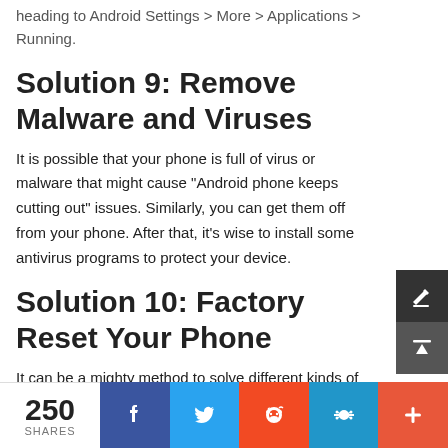heading to Android Settings > More > Applications > Running.
Solution 9: Remove Malware and Viruses
It is possible that your phone is full of virus or malware that might cause "Android phone keeps cutting out" issues. Similarly, you can get them off from your phone. After that, it's wise to install some antivirus programs to protect your device.
Solution 10: Factory Reset Your Phone
It can be a mighty method to solve different kinds of phone problems. But this will erase all the data on your Android device. Thus you'd better back up the Android phone to PC in advance. To do the factory reset, you can:
250 SHARES | Facebook | Twitter | Reddit | Bug | Plus